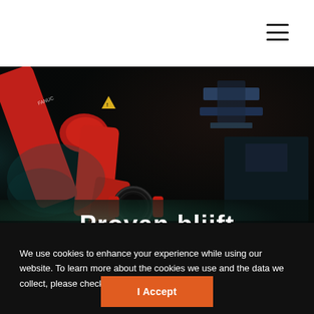[Figure (photo): Industrial robotic arm with red housing and camera/sensor attachment, working in a dark factory setting with teal/blue ambient lighting and sparks or smoke visible]
Provan blijft
We use cookies to enhance your experience while using our website. To learn more about the cookies we use and the data we collect, please check our Privacy Settings.
I Accept